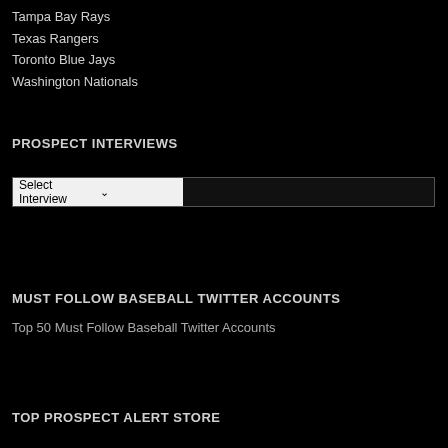Tampa Bay Rays
Texas Rangers
Toronto Blue Jays
Washington Nationals
PROSPECT INTERVIEWS
Select Interview
MUST FOLLOW BASEBALL TWITTER ACCOUNTS
Top 50 Must Follow Baseball Twitter Accounts
TOP PROSPECT ALERT STORE